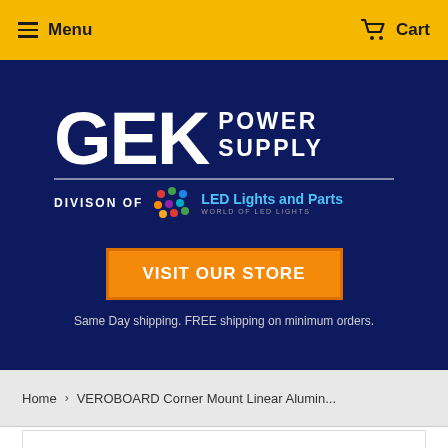Menu   Cart
[Figure (logo): GEK Power Supply logo - Division of LED Lights and Parts, on dark navy background with VISIT OUR STORE button and shipping text]
VISIT OUR STORE
Same Day shipping. FREE shipping on minimum orders.
Home › VEROBOARD Corner Mount Linear Alumin...